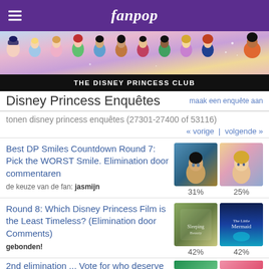fanpop
[Figure (illustration): Disney princesses banner with multiple princess characters]
THE DISNEY PRINCESS CLUB
Disney Princess Enquêtes
maak een enquête aan
tonen disney princess enquêtes (27301-27400 of 53116)
« vorige  |  volgende »
Best DP Smiles Countdown Round 7: Pick the WORST Smile. Elimination door commentaren
de keuze van de fan: jasmijn
31%   25%
Round 8: Which Disney Princess Film is the Least Timeless? (Elimination door Comments)
gebonden!
42%   42%
2nd elimination ... Vote for who deserve to be the seconde